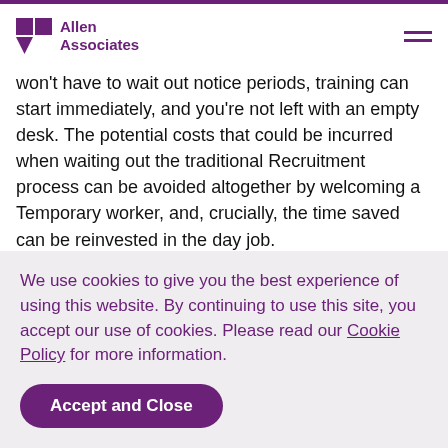Allen Associates
won't have to wait out notice periods, training can start immediately, and you're not left with an empty desk. The potential costs that could be incurred when waiting out the traditional Recruitment process can be avoided altogether by welcoming a Temporary worker, and, crucially, the time saved can be reinvested in the day job.
Temporary placements can range from weeks to years and while some Candidates may not fully become part of the furniture, they can really add to the company culture and prove their worth before they leave, avoiding disruption to internal processes and
We use cookies to give you the best experience of using this website. By continuing to use this site, you accept our use of cookies. Please read our Cookie Policy for more information.
Accept and Close